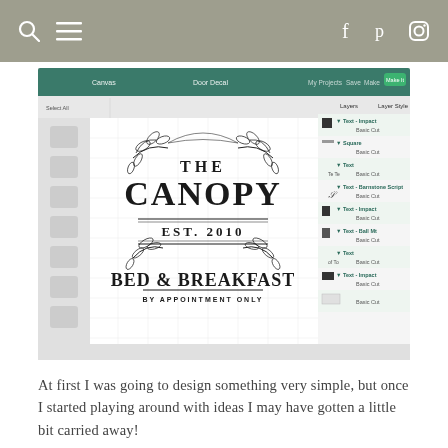Navigation bar with search, menu, Facebook, Pinterest, Instagram icons
[Figure (screenshot): Screenshot of Cricut Design Space software showing a 'Door Decal' project. The canvas displays a 'The Canopy EST. 2010 Bed & Breakfast By Appointment Only' logo design with floral leaf decorations. The right panel shows multiple text and shape layers listed as Basic Cut items including Text - Impact, Square, Text, Text - Barnstone Script, Text - Impact, Text - Ball Mt, Text.]
At first I was going to design something very simple, but once I started playing around with ideas I may have gotten a little bit carried away!